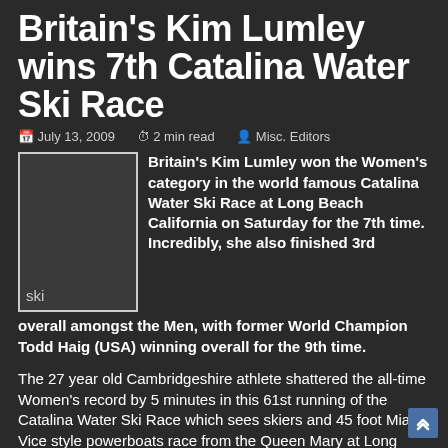Britain's Kim Lumley wins 7th Catalina Water Ski Race
July 13, 2009  2 min read  Misc. Editors
[Figure (photo): Ski image placeholder with label 'ski']
Britain's Kim Lumley won the Women's category in the world famous Catalina Water Ski Race at Long Beach California on Saturday for the 7th time. Incredibly, she also finished 3rd overall amongst the Men, with former World Champion Todd Haig (USA) winning overall for the 9th time.
The 27 year old Cambridgeshire athlete shattered the all-time Women's record by 5 minutes in this 61st running of the Catalina Water Ski Race which sees skiers and 45 foot Miami Vice style powerboats race from the Queen Mary at Long Beach to Catalina Island and back in the